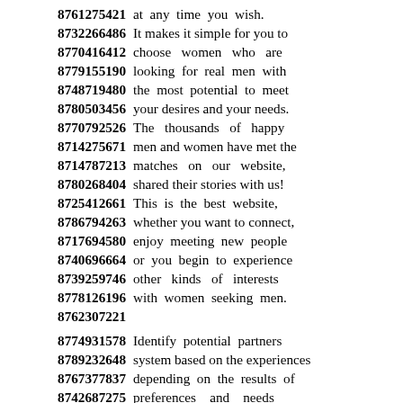8761275421 at any time you wish.
8732266486 It makes it simple for you to
8770416412 choose women who are
8779155190 looking for real men with
8748719480 the most potential to meet
8780503456 your desires and your needs.
8770792526 The thousands of happy
8714275671 men and women have met the
8714787213 matches on our website,
8780268404 shared their stories with us!
8725412661 This is the best website,
8786794263 whether you want to connect,
8717694580 enjoy meeting new people
8740696664 or you begin to experience
8739259746 other kinds of interests
8778126196 with women seeking men.
8762307221
8774931578 Identify potential partners
8789232648 system based on the experiences
8767377837 depending on the results of
8742687275 preferences and needs
8731592356 that everyone has provided.
8735349349 Since you are searching for
8779754649 women for men online
8753567162 you can enjoy chatting